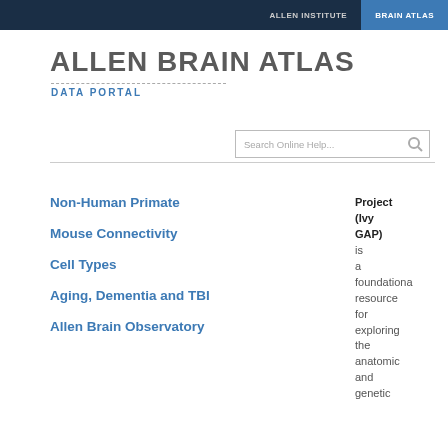ALLEN INSTITUTE | BRAIN ATLAS
ALLEN BRAIN ATLAS
DATA PORTAL
Search Online Help...
Non-Human Primate
Mouse Connectivity
Cell Types
Aging, Dementia and TBI
Allen Brain Observatory
Project (Ivy GAP) is a foundational resource for exploring the anatomic and genetic